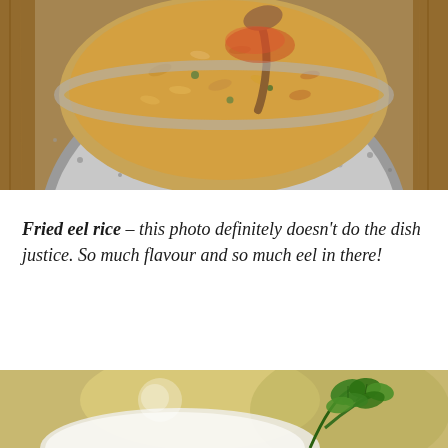[Figure (photo): A stone mortar/bowl filled with fried eel rice, with a wooden spoon, placed on a wooden surface. The rice is golden-brown with visible pieces of eel.]
Fried eel rice – this photo definitely doesn't do the dish justice. So much flavour and so much eel in there!
[Figure (photo): Close-up photo of a white plate with fresh green herb garnish (parsley), softly blurred background with warm golden tones.]